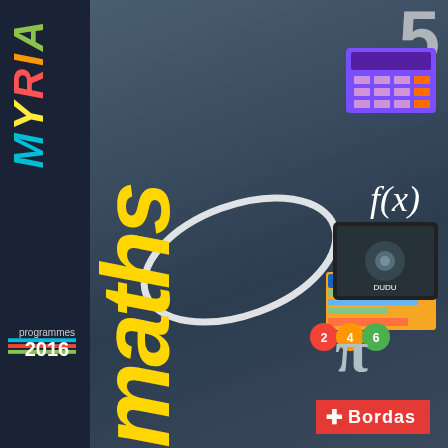[Figure (illustration): Book cover for 'MYRIA maths 5e' by Bordas, programmes 2016. Dark navy left spine with MYRIA in multicolor vertical italic text. Large yellow vertical 'maths' title. Photo of teenage girl with compass. Mathematical symbols: f(x), pi, calculator, tablet, dice, software card. Red Bordas publisher logo bottom right.]